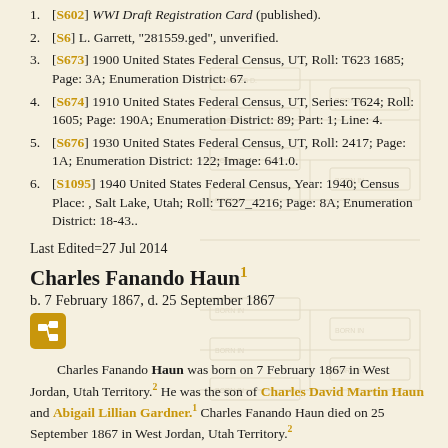[S602] WWI Draft Registration Card (published).
[S6] L. Garrett, "281559.ged", unverified.
[S673] 1900 United States Federal Census, UT, Roll: T623 1685; Page: 3A; Enumeration District: 67.
[S674] 1910 United States Federal Census, UT, Series: T624; Roll: 1605; Page: 190A; Enumeration District: 89; Part: 1; Line: 4.
[S676] 1930 United States Federal Census, UT, Roll: 2417; Page: 1A; Enumeration District: 122; Image: 641.0.
[S1095] 1940 United States Federal Census, Year: 1940; Census Place: , Salt Lake, Utah; Roll: T627_4216; Page: 8A; Enumeration District: 18-43..
Last Edited=27 Jul 2014
Charles Fanando Haun
b. 7 February 1867, d. 25 September 1867
Charles Fanando Haun was born on 7 February 1867 in West Jordan, Utah Territory. He was the son of Charles David Martin Haun and Abigail Lillian Gardner. Charles Fanando Haun died on 25 September 1867 in West Jordan, Utah Territory.